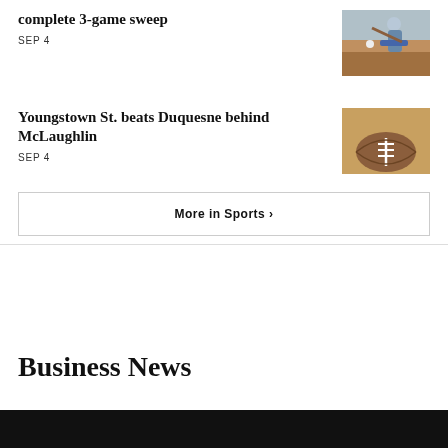complete 3-game sweep
SEP 4
[Figure (photo): Baseball player batting at home plate]
Youngstown St. beats Duquesne behind McLaughlin
SEP 4
[Figure (photo): Close-up of a football laces]
More in Sports ›
Business News